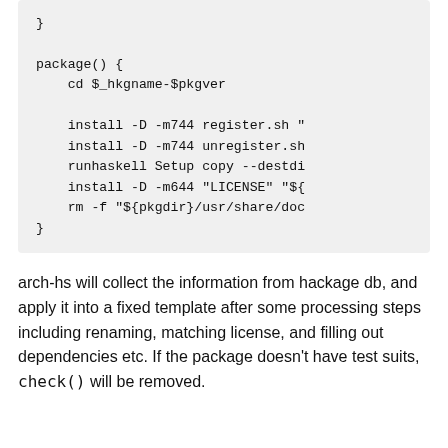}

package() {
    cd $_hkgname-$pkgver

    install -D -m744 register.sh "
    install -D -m744 unregister.sh
    runhaskell Setup copy --destdi
    install -D -m644 "LICENSE" "${
    rm -f "${pkgdir}/usr/share/doc
}
arch-hs will collect the information from hackage db, and apply it into a fixed template after some processing steps including renaming, matching license, and filling out dependencies etc. If the package doesn't have test suits, check() will be removed.